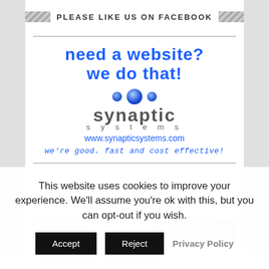PLEASE LIKE US ON FACEBOOK
[Figure (logo): Synaptic Systems advertisement with blue bold text 'need a website? we do that!', three blue spherical dots, Synaptic Systems logo in gray with 'systems' subtitle, URL www.synapticsystems.com in blue, and tagline 'we're good. fast and cost effective!' in blue italic]
[Figure (photo): Partially visible image strip at the bottom of the ad box with a dashed red border]
This website uses cookies to improve your experience. We'll assume you're ok with this, but you can opt-out if you wish.
Accept
Reject
Privacy Policy